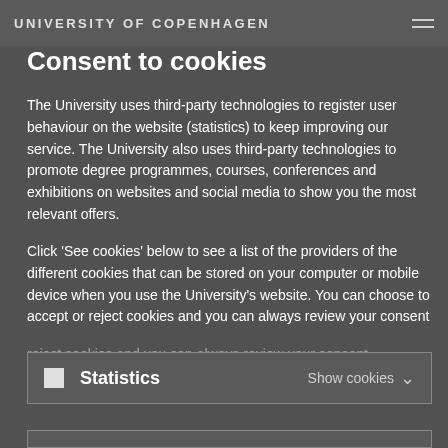UNIVERSITY OF COPENHAGEN
Consent to cookies
The University uses third-party technologies to register user behaviour on the website (statistics) to keep improving our service. The University also uses third-party technologies to promote degree programmes, courses, conferences and exhibitions on websites and social media to show you the most relevant offers.
Click 'See cookies' below to see a list of the providers of the different cookies that can be stored on your computer or mobile device when you use the University's website. You can choose to accept or reject cookies and you can always review your consent
Statistics  Show cookies